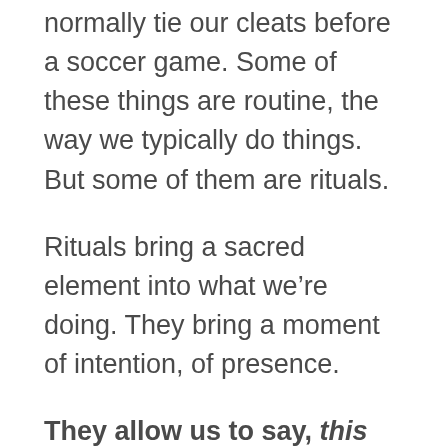normally tie our cleats before a soccer game. Some of these things are routine, the way we typically do things. But some of them are rituals.
Rituals bring a sacred element into what we’re doing. They bring a moment of intention, of presence.
They allow us to say, this matters. Let me pay attention to it.